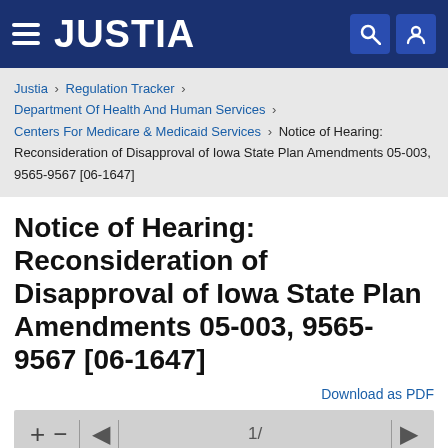JUSTIA
Justia › Regulation Tracker › Department Of Health And Human Services › Centers For Medicare & Medicaid Services › Notice of Hearing: Reconsideration of Disapproval of Iowa State Plan Amendments 05-003, 9565-9567 [06-1647]
Notice of Hearing: Reconsideration of Disapproval of Iowa State Plan Amendments 05-003, 9565-9567 [06-1647]
Download as PDF
[Figure (other): PDF viewer toolbar with zoom controls (+, -), navigation arrows, and page indicator showing 1/]